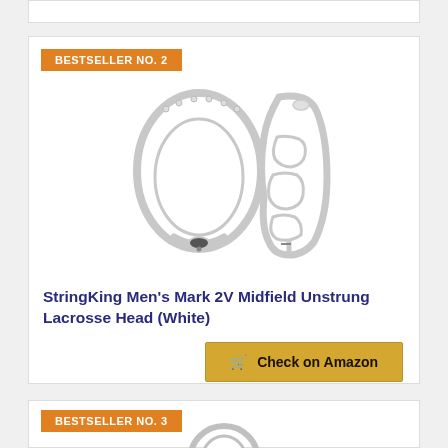[Figure (other): Top strip of a product card (partially visible at top of page)]
BESTSELLER NO. 2
[Figure (photo): Two views of a white lacrosse head — front oval view and side profile view of StringKing Men's Mark 2V Midfield Unstrung Lacrosse Head]
StringKing Men's Mark 2V Midfield Unstrung Lacrosse Head (White)
Check on Amazon
BESTSELLER NO. 3
[Figure (photo): Partial view of a lacrosse head product image at bottom of page]